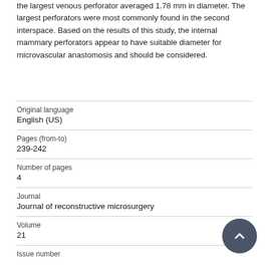the largest venous perforator averaged 1.78 mm in diameter. The largest perforators were most commonly found in the second interspace. Based on the results of this study, the internal mammary perforators appear to have suitable diameter for microvascular anastomosis and should be considered.
| Original language | English (US) |
| Pages (from-to) | 239-242 |
| Number of pages | 4 |
| Journal | Journal of reconstructive microsurgery |
| Volume | 21 |
| Issue number |  |